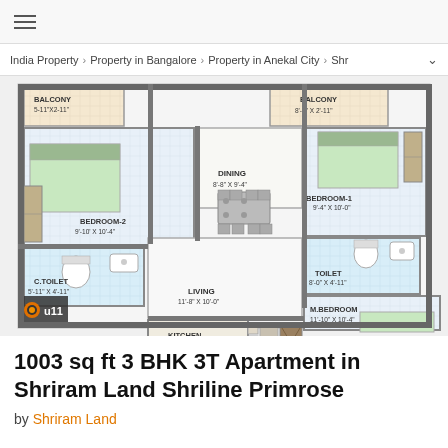☰
India Property > Property in Bangalore > Property in Anekal City > Shr
[Figure (engineering-diagram): Floor plan of a 3 BHK 3T apartment showing: Balcony (5-11"X2-11"), Balcony (8'-8" X 2'-11"), Bedroom-1 (9'-4" X 10'-0"), Bedroom-2 (9'-10' X 10'-4"), Dining (8'-8" X 9'-4"), Toilet (8'-0" X 4'-11"), C.Toilet (5'-11" X 4'-11"), Living (11'-8" X 10'-0"), M.Bedroom (11'-10" X 10'-4"), Kitchen (7'-9" X 7'-0")]
1003 sq ft 3 BHK 3T Apartment in Shriram Land Shriline Primrose
by Shriram Land